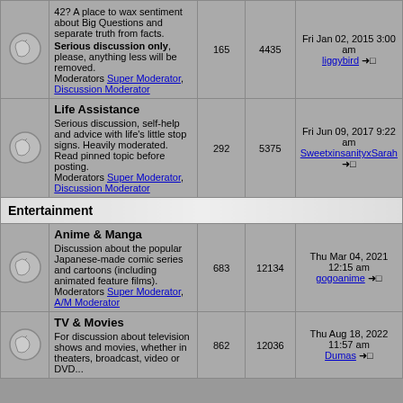|  | Forum | Topics | Posts | Last Post |
| --- | --- | --- | --- | --- |
| [icon] | 42? A place to wax sentiment about Big Questions and separate truth from facts. Serious discussion only, please, anything less will be removed. Moderators Super Moderator, Discussion Moderator | 165 | 4435 | Fri Jan 02, 2015 3:00 am liggybird |
| [icon] | Life Assistance - Serious discussion, self-help and advice with life's little stop signs. Heavily moderated. Read pinned topic before posting. Moderators Super Moderator, Discussion Moderator | 292 | 5375 | Fri Jun 09, 2017 9:22 am SweetxinsanityxSarah |
| [section] | Entertainment |  |  |  |
| [icon] | Anime & Manga - Discussion about the popular Japanese-made comic series and cartoons (including animated feature films). Moderators Super Moderator, A/M Moderator | 683 | 12134 | Thu Mar 04, 2021 12:15 am gogoanime |
| [icon] | TV & Movies - For discussion about television shows and movies, whether in theaters, broadcast, video or DVD... | 862 | 12036 | Thu Aug 18, 2022 11:57 am Dumas |